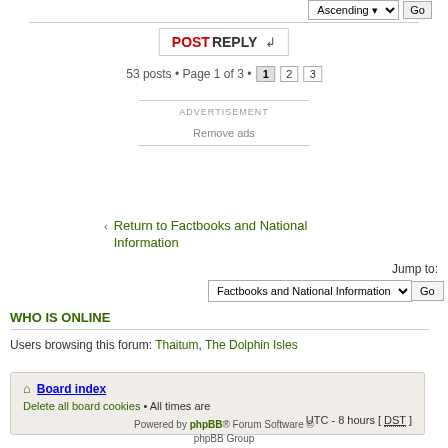Ascending Go
POSTREPLY
53 posts • Page 1 of 3 • 1 2 3
ADVERTISEMENT
Remove ads
Return to Factbooks and National Information
Jump to: Factbooks and National Information Go
WHO IS ONLINE
Users browsing this forum: Thaitum, The Dolphin Isles
Board index Delete all board cookies • All times are UTC - 8 hours [ DST ]
Powered by phpBB® Forum Software © phpBB Group